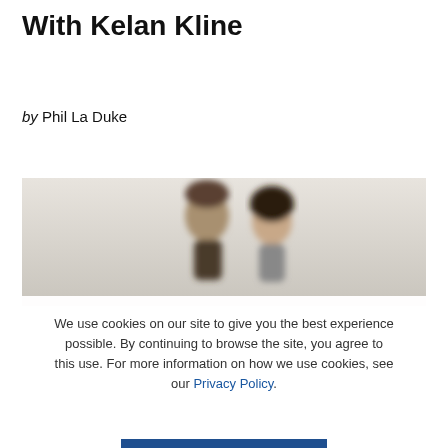With Kelan Kline
by Phil La Duke
[Figure (photo): Two people, a man and a woman, shown from shoulders up against a light background. Image is partially visible and slightly blurred.]
We use cookies on our site to give you the best experience possible. By continuing to browse the site, you agree to this use. For more information on how we use cookies, see our Privacy Policy.
CONTINUE